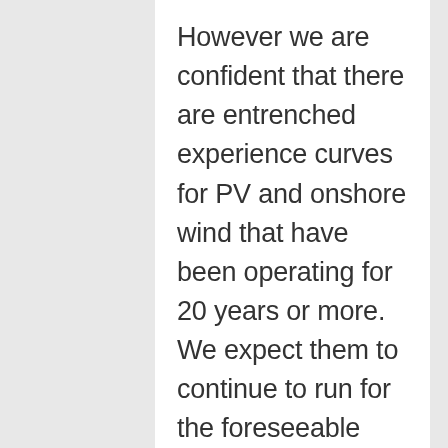However we are confident that there are entrenched experience curves for PV and onshore wind that have been operating for 20 years or more. We expect them to continue to run for the foreseeable future, certainly as far as 2030, as economies of scale and technological improvements take effect. The crystalline silicon PV module experience curve implies continuing cost